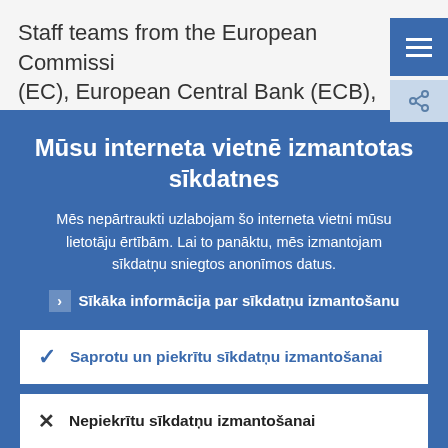Staff teams from the European Commission (EC), European Central Bank (ECB), and the
Mūsu interneta vietnē izmantotas sīkdatnes
Mēs nepārtraukti uzlabojam šo interneta vietni mūsu lietotāju ērtībām. Lai to panāktu, mēs izmantojam sīkdatņu sniegtos anonīmos datus.
› Sīkāka informācija par sīkdatņu izmantošanu
✓ Saprotu un piekrītu sīkdatņu izmantošanai
✕ Nepiekrītu sīkdatņu izmantošanai